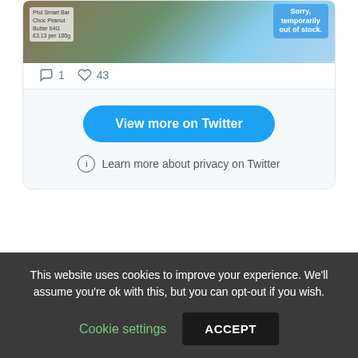[Figure (screenshot): Twitter embed widget showing a photo of a supermarket shelf with 'Sorry, temporarily out of stock.' sign and a price label for 'Phd Smart Bar Choc Peanut Butter 64G £3.13 per 100g']
1   43
View more on Twitter
Learn more about privacy on Twitter
This website uses cookies to improve your experience. We'll assume you're ok with this, but you can opt-out if you wish.
Cookie settings
ACCEPT